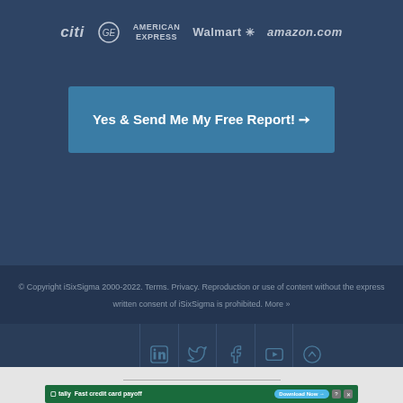[Figure (logo): Row of company logos: Citi, GE, American Express, Walmart, Amazon.com]
Yes & Send Me My Free Report! →
© Copyright iSixSigma 2000-2022. Terms. Privacy. Reproduction or use of content without the express written consent of iSixSigma is prohibited. More »
[Figure (infographic): Social media icon bar with LinkedIn, Twitter, Facebook, YouTube, and Up-arrow icons]
AN ELITE CAFEMEDIA PUBLISHER
[Figure (screenshot): Advertisement banner: Tally — Fast credit card payoff, Download Now button]